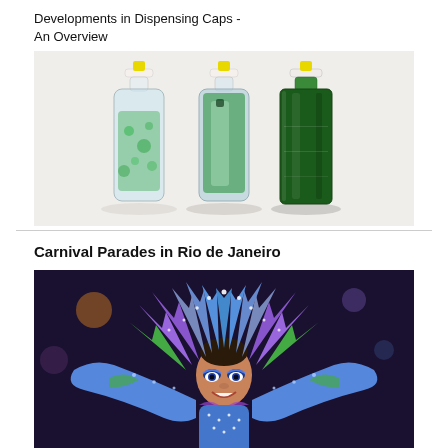Developments in Dispensing Caps - An Overview
[Figure (photo): Three bottles with yellow dispensing caps — one clear/transparent with green liquid, one semi-opaque with green content, and one dark green opaque bottle — arranged side by side on a light surface.]
Carnival Parades in Rio de Janeiro
[Figure (photo): A vibrant carnival performer wearing an elaborate blue, purple, and green feathered costume and headdress adorned with rhinestones, smiling at the camera during the Rio de Janeiro carnival parade.]